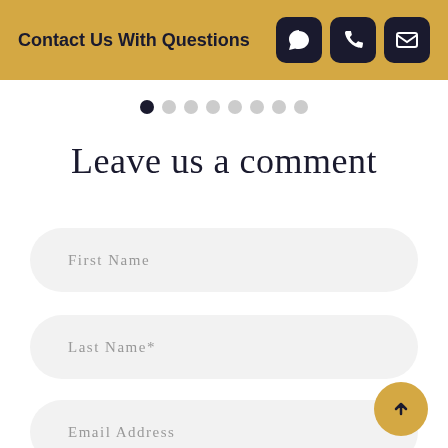Contact Us With Questions
[Figure (infographic): Row of 8 pagination dots, first dot filled dark, remaining dots light gray]
Leave us a comment
First Name
Last Name*
Email Address